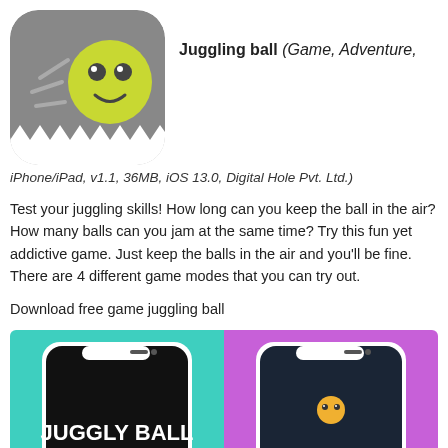[Figure (illustration): App icon for Juggling Ball game — gray rounded square background with white spikes at the bottom, a yellow-green smiley face ball with motion lines]
Juggling ball (Game, Adventure, iPhone/iPad, v1.1, 36MB, iOS 13.0, Digital Hole Pvt. Ltd.)
Test your juggling skills! How long can you keep the ball in the air? How many balls can you jam at the same time? Try this fun yet addictive game. Just keep the balls in the air and you'll be fine.
There are 4 different game modes that you can try out.
Download free game juggling ball
[Figure (screenshot): Two phone screenshots side by side: left on teal background showing phone screen with 'JUGGLY BALL' text, right on purple background showing phone screen with a small ball emoji]